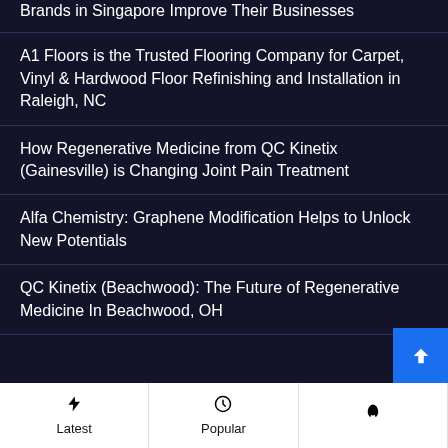Brands in Singapore Improve Their Businesses
A1 Floors is the Trusted Flooring Company for Carpet, Vinyl & Hardwood Floor Refinishing and Installation in Raleigh, NC
How Regenerative Medicine from QC Kinetix (Gainesville) is Changing Joint Pain Treatment
Alfa Chemistry: Graphene Modification Helps to Unlock New Potentials
QC Kinetix (Beachwood): The Future of Regenerative Medicine In Beachwood, OH
Latest | Popular | (third tab)